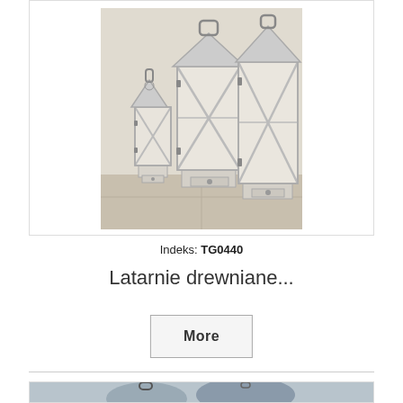[Figure (photo): Three white wooden lanterns of different sizes displayed together on a tiled floor background]
Indeks: TG0440
Latarnie drewniane...
[Figure (other): Button labeled More]
[Figure (photo): Two metal lanterns with rounded dome shapes and carrying handles, displayed against a light blue/grey background]